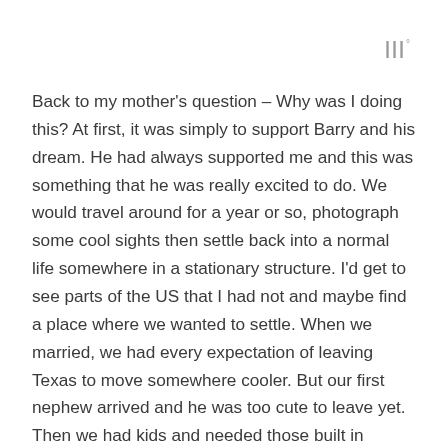|||°
Back to my mother's question – Why was I doing this? At first, it was simply to support Barry and his dream. He had always supported me and this was something that he was really excited to do. We would travel around for a year or so, photograph some cool sights then settle back into a normal life somewhere in a stationary structure. I'd get to see parts of the US that I had not and maybe find a place where we wanted to settle. When we married, we had every expectation of leaving Texas to move somewhere cooler. But our first nephew arrived and he was too cute to leave yet. Then we had kids and needed those built in babysitters! So as a good personal why, I was on the hunt for my next place to live.